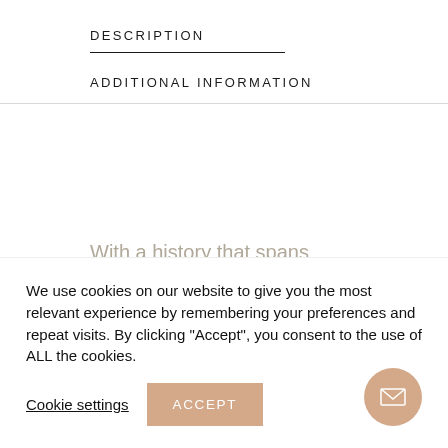DESCRIPTION
ADDITIONAL INFORMATION
With a history that spans more than 100 years, the Georg Jensen brand represents quality craftsmanship and timeless aesthetic design, producing lifestyle products ranging from hollowware to
We use cookies on our website to give you the most relevant experience by remembering your preferences and repeat visits. By clicking "Accept", you consent to the use of ALL the cookies.
Cookie settings
ACCEPT